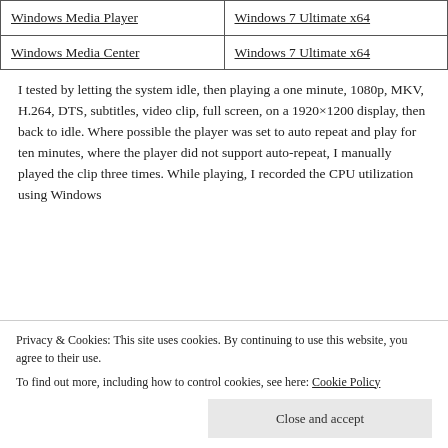| Windows Media Player | Windows 7 Ultimate x64 |
| Windows Media Center | Windows 7 Ultimate x64 |
I tested by letting the system idle, then playing a one minute, 1080p, MKV, H.264, DTS, subtitles, video clip, full screen, on a 1920×1200 display, then back to idle. Where possible the player was set to auto repeat and play for ten minutes, where the player did not support auto-repeat, I manually played the clip three times. While playing, I recorded the CPU utilization using Windows...
Privacy & Cookies: This site uses cookies. By continuing to use this website, you agree to their use.
To find out more, including how to control cookies, see here: Cookie Policy